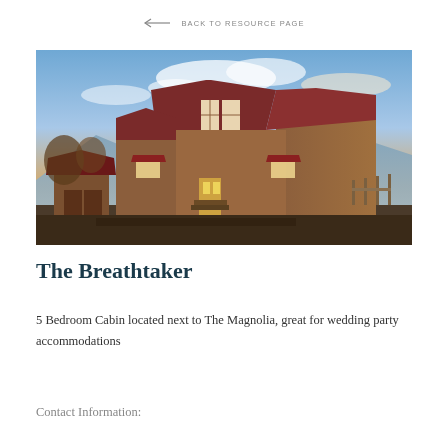← BACK TO RESOURCE PAGE
[Figure (photo): Exterior photo of The Breathtaker, a large wooden 5-bedroom cabin with red metal roof and red window awnings, set against a dramatic sunset sky with mountains in the background. A smaller shed structure is visible to the left.]
The Breathtaker
5 Bedroom Cabin located next to The Magnolia, great for wedding party accommodations
Contact Information: